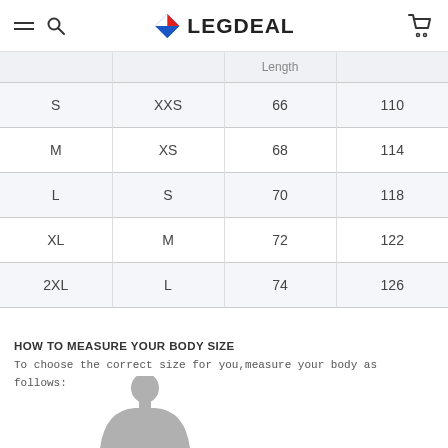LEGDEAL (navigation header)
|  |  | Length |  |
| --- | --- | --- | --- |
| S | XXS | 66 | 110 |
| M | XS | 68 | 114 |
| L | S | 70 | 118 |
| XL | M | 72 | 122 |
| 2XL | L | 74 | 126 |
HOW TO MEASURE YOUR BODY SIZE
To choose the correct size for you,measure your body as follows:
[Figure (illustration): Gray silhouette of a person (torso and head), used to indicate body measurement guide.]